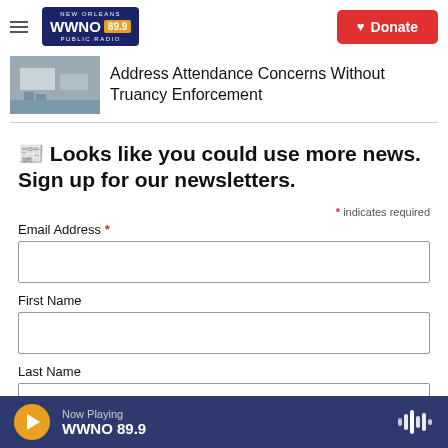WWNO 89.9 New Orleans Public Radio — Donate
Address Attendance Concerns Without Truancy Enforcement
📰 Looks like you could use more news. Sign up for our newsletters.
* indicates required
Email Address *
First Name
Last Name
Now Playing WWNO 89.9